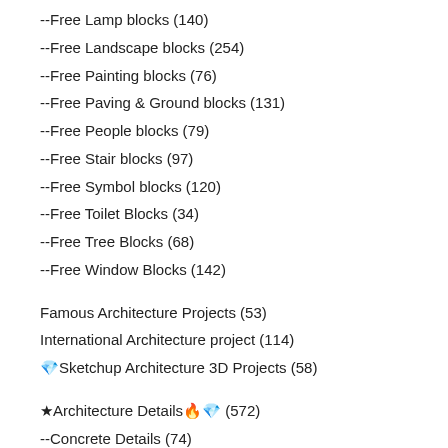--Free Lamp blocks (140)
--Free Landscape blocks (254)
--Free Painting blocks (76)
--Free Paving & Ground blocks (131)
--Free People blocks (79)
--Free Stair blocks (97)
--Free Symbol blocks (120)
--Free Toilet Blocks (34)
--Free Tree Blocks (68)
--Free Window Blocks (142)
Famous Architecture Projects (53)
International Architecture project (114)
💎Sketchup Architecture 3D Projects (58)
★Architecture Details🔥💎 (572)
--Concrete Details (74)
--Floor Details (42)
--Plumbing Details (25)
--Building Details (183)